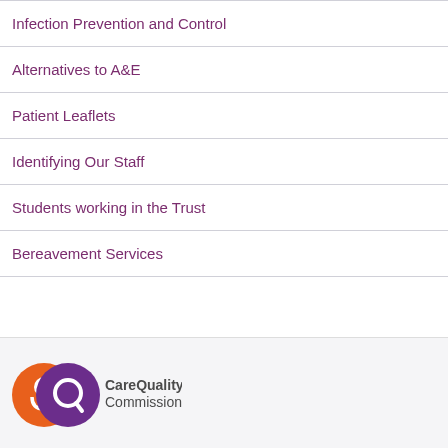Infection Prevention and Control
Alternatives to A&E
Patient Leaflets
Identifying Our Staff
Students working in the Trust
Bereavement Services
[Figure (logo): Care Quality Commission logo with orange and purple circular icons and 'CareQuality Commission' text]